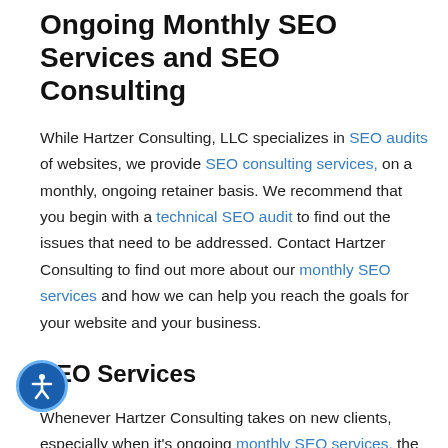Ongoing Monthly SEO Services and SEO Consulting
While Hartzer Consulting, LLC specializes in SEO audits of websites, we provide SEO consulting services, on a monthly, ongoing retainer basis. We recommend that you begin with a technical SEO audit to find out the issues that need to be addressed. Contact Hartzer Consulting to find out more about our monthly SEO services and how we can help you reach the goals for your website and your business.
SEO Services
Whenever Hartzer Consulting takes on new clients, especially when it's ongoing monthly SEO services, the first month is dedicated towards a Mini SEO audit, and the second month [typ]ically is dedicated towards implementing what's been discovered during that SEO audit. This is a necessary part of the